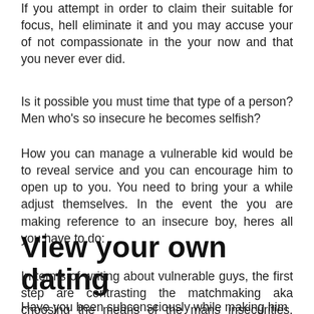If you attempt in order to claim their suitable for focus, hell eliminate it and you may accuse your of not compassionate in the your now and that you never ever did.
Is it possible you must time that type of a person? Men who's so insecure he becomes selfish?
How you can manage a vulnerable kid would be to reveal service and you can encourage him to open up to you. You need to bring your a while adjust themselves. In the event the you are making reference to an insecure boy, heres all you have to do:
View your own dating
In terms of writing about vulnerable guys, the first step are contrasting the matchmaking aka choosing the means of the mans insecurities. Think of should your choices was while making him getting insecure.
Have you been subconsciously while making him